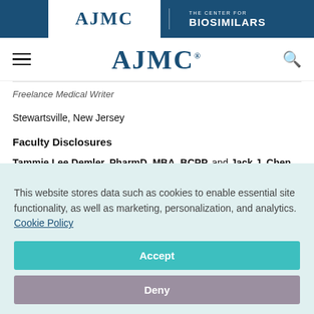[Figure (logo): AJMC and The Center for Biosimilars logo banner on dark blue background]
[Figure (logo): AJMC navigation bar with hamburger menu and search icon]
Freelance Medical Writer
Stewartsville, New Jersey
Faculty Disclosures
Tammie Lee Demler, PharmD, MBA, BCPP, and Jack J. Chen,
This website stores data such as cookies to enable essential site functionality, as well as marketing, personalization, and analytics. Cookie Policy
Accept
Deny